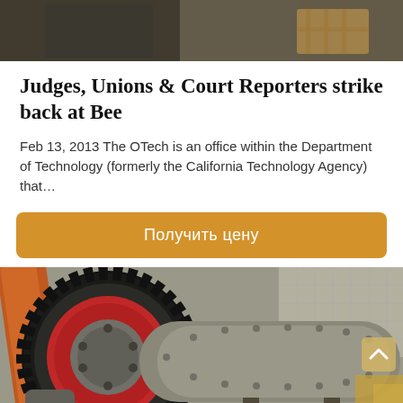[Figure (photo): Industrial machinery or workshop setting photographed from above, showing metal equipment and wooden crates in background]
Judges, Unions & Court Reporters strike back at Bee
Feb 13, 2013 The OTech is an office within the Department of Technology (formerly the California Technology Agency) that…
[Figure (other): Orange button with Russian text: Получить цену (Get price)]
[Figure (photo): Close-up photo of large industrial ball mill with red-rimmed gear wheel and cylindrical drum, with orange arm and other heavy machinery visible]
сообщение
Онлайн чат